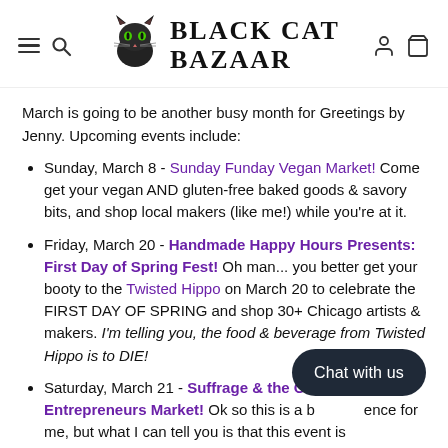Black Cat Bazaar
March is going to be another busy month for Greetings by Jenny. Upcoming events include:
Sunday, March 8 - Sunday Funday Vegan Market! Come get your vegan AND gluten-free baked goods & savory bits, and shop local makers (like me!) while you're at it.
Friday, March 20 - Handmade Happy Hours Presents: First Day of Spring Fest! Oh man... you better get your booty to the Twisted Hippo on March 20 to celebrate the FIRST DAY OF SPRING and shop 30+ Chicago artists & makers. I'm telling you, the food & beverage from Twisted Hippo is to DIE!
Saturday, March 21 - Suffrage & the Creative Entrepreneurs Market! Ok so this is a big difference for me, but what I can tell you is that this event is